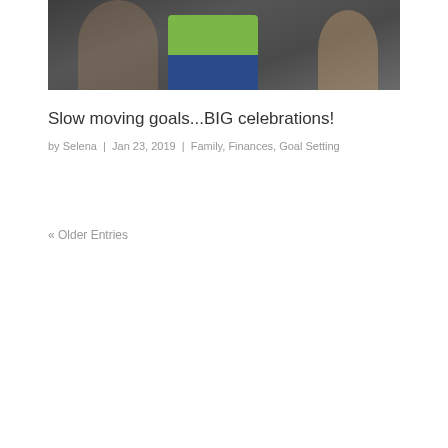[Figure (photo): Photo of people including a woman with dark hair in a green jacket, a person wearing a green and blue jacket, and a young girl with brown hair]
Slow moving goals...BIG celebrations!
by Selena | Jan 23, 2019 | Family, Finances, Goal Setting
« Older Entries